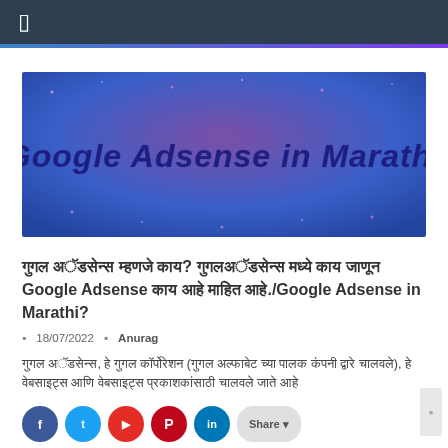☰
[Figure (illustration): Banner image with purple-blue gradient background and bold italic text 'Google Adsense in Marathi' in dark purple/blue color]
गुगल अॅडसेन्स म्हणजे काय?/Google Adsense in Marathi?
18/07/2022  Anurag
गुगल अॅडसेन्स, हे गुगल कॉर्पोरेशन (गुगल अल्फाबेट च्या पालक कंपनी द्वारे चालवले), हे वेबसाइट्स आणि वेबसाइट्स प्रकाशकांसाठी चालवले जाते आहे